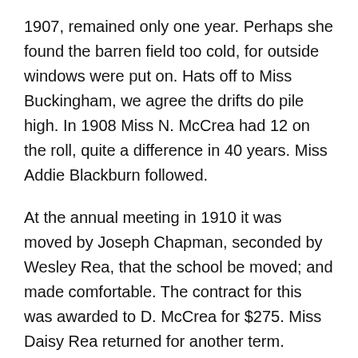1907, remained only one year. Perhaps she found the barren field too cold, for outside windows were put on. Hats off to Miss Buckingham, we agree the drifts do pile high. In 1908 Miss N. McCrea had 12 on the roll, quite a difference in 40 years. Miss Addie Blackburn followed.
At the annual meeting in 1910 it was moved by Joseph Chapman, seconded by Wesley Rea, that the school be moved; and made comfortable. The contract for this was awarded to D. McCrea for $275. Miss Daisy Rea returned for another term. School problems must have been easily discussed, for in 1913 the annual meeting closed with Auld Lang Syne. Next came Lila Smith and Gertrude Ormrod. At the meeting in 1914, it was moved by Andrew Yuill and seconded by Joseph Chapman that the trustees have the grounds fenced with wire. This was done by W. C Gilmour.